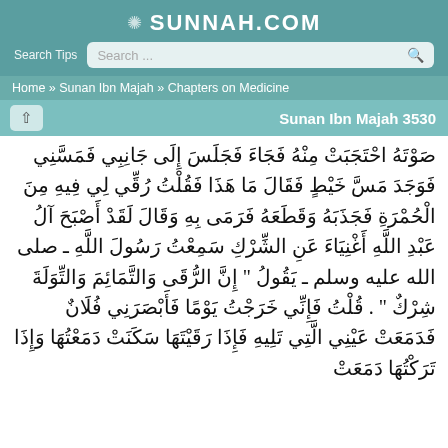SUNNAH.COM
Search Tips  Search ...
Home » Sunan Ibn Majah » Chapters on Medicine
Sunan Ibn Majah 3530
صَوْتَهُ احْتَجَبَتْ مِنْهُ فَجَاءَ فَجَلَسَ إِلَى جَانِبِي فَمَسَّنِي فَوَجَدَ مَسَّ خَيْطٍ فَقَالَ مَا هَذَا فَقُلْتُ رُقِّي لِي فِيهِ مِنَ الْحُمْرَةِ فَجَذَبَهُ وَقَطَعَهُ فَرَمَى بِهِ وَقَالَ لَقَدْ أَصْبَحَ آلُ عَبْدِ اللَّهِ أَغْنِيَاءَ عَنِ الشِّرْكِ سَمِعْتُ رَسُولَ اللَّهِ ـ صلى الله عليه وسلم ـ يَقُولُ " إِنَّ الرُّقَى وَالتَّمَائِمَ وَالتِّوَلَةَ شِرْكٌ " . قُلْتُ فَإِنِّي خَرَجْتُ يَوْمًا فَأَبْصَرَنِي فُلَانٌ فَدَمَعَتْ عَيْنِي الَّتِي تَلِيهِ فَإِذَا رَقَيْتَهَا سَكَنَتْ دَمَعْتُهَا وَإِذَا تَرَكْتُهَا دَمَعَتْ